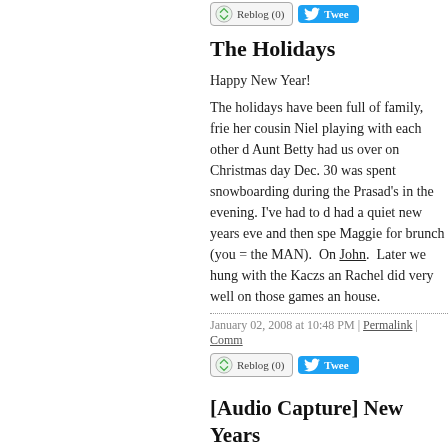[Figure (other): Reblog and Tweet buttons at top of page (partially visible)]
The Holidays
Happy New Year!
The holidays have been full of family, frie... her cousin Niel playing with each other d... Aunt Betty had us over on Christmas day... Dec. 30 was spent snowboarding during... the Prasad's in the evening. I've had to d... had a quiet new years eve and then spe... Maggie for brunch (you = the MAN). On... John. Later we hung with the Kaczs an... Rachel did very well on those games an... house.
January 02, 2008 at 10:48 PM | Permalink | Comm...
[Figure (other): Reblog (0) and Tweet buttons]
[Audio Capture] New Years... Side
A close friend captured the sound of Milw...